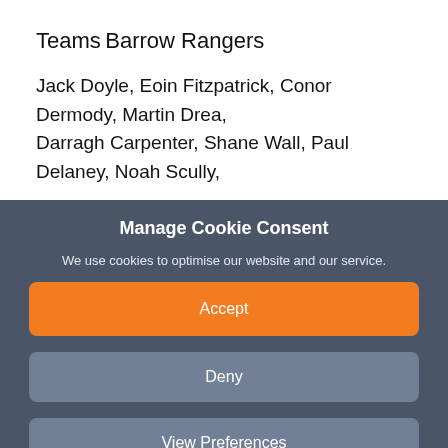Teams
Barrow Rangers
Jack Doyle, Eoin Fitzpatrick,  Conor Dermody, Martin Drea, Darragh Carpenter,  Shane Wall, Paul Delaney,  Noah Scully,
Manage Cookie Consent
We use cookies to optimise our website and our service.
Accept
Deny
View Preferences